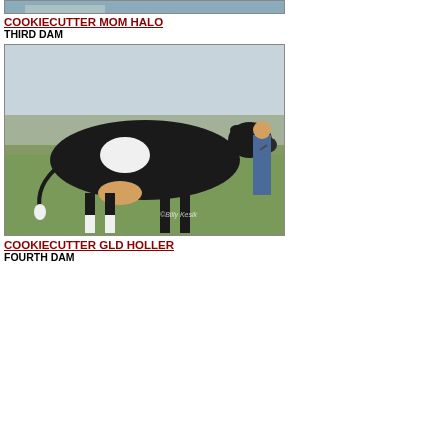[Figure (photo): Partial top of cow photo (COOKIECUTTER MOM HALO), cropped at top]
COOKIECUTTER MOM HALO
THIRD DAM
[Figure (photo): Black and white Holstein dairy cow standing in a field, being led by a person. Photo credit: Billy Kesik]
COOKIECUTTER GLD HOLLER
FOURTH DAM
Fore Teat Placement
Rear Attachment Height
Rear Attachment Width
Rear Teat Placement
Teat Length
Foot Angle
Heel Depth
Bone Quality
Rear Legs Side View
Rear Legs Rear View
Stature
Chest Width
Body Depth
Dairy Capacity
Loin Strength
Rump Angle
Pin Width